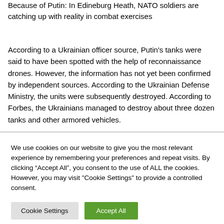Because of Putin: In Edineburg Heath, NATO soldiers are catching up with reality in combat exercises
According to a Ukrainian officer source, Putin's tanks were said to have been spotted with the help of reconnaissance drones. However, the information has not yet been confirmed by independent sources. According to the Ukrainian Defense Ministry, the units were subsequently destroyed. According to Forbes, the Ukrainians managed to destroy about three dozen tanks and other armored vehicles.
We use cookies on our website to give you the most relevant experience by remembering your preferences and repeat visits. By clicking “Accept All”, you consent to the use of ALL the cookies. However, you may visit "Cookie Settings" to provide a controlled consent.